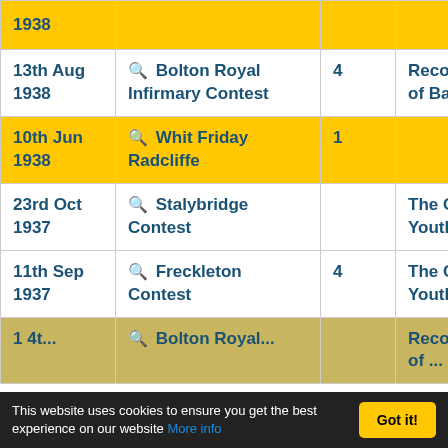| Date | Contest | Position | Piece |
| --- | --- | --- | --- |
| 1938 |  |  |  |
| 13th Aug 1938 | 🔍 Bolton Royal Infirmary Contest | 4 | Recollections of Balfe |
| 10th Jun 1938 | 🔍 Whit Friday Radcliffe | 1 |  |
| 23rd Oct 1937 | 🔍 Stalybridge Contest |  | The Call of Youth |
| 11th Sep 1937 | 🔍 Freckleton Contest | 4 | The Call of Youth |
| 1st ... | 🔍 Bolton Royal... |  | Recollections of ... |
This website uses cookies to ensure you get the best experience on our website More info